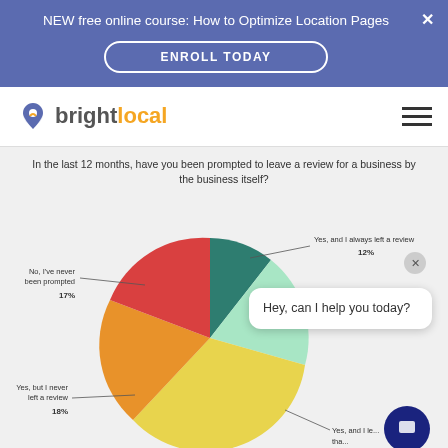NEW free online course: How to Optimize Location Pages
ENROLL TODAY
[Figure (logo): BrightLocal logo with map pin icon and orange/grey text]
In the last 12 months, have you been prompted to leave a review for a business by the business itself?
[Figure (pie-chart): In the last 12 months, have you been prompted to leave a review for a business by the business itself?]